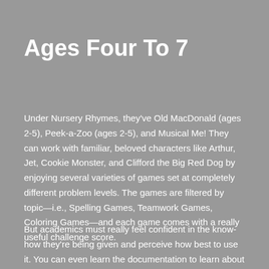Ages Four To 7
Under Nursery Rhymes, they've Old MacDonald (ages 2-5), Peek-a-Zoo (ages 2-5), and Musical Me! They can work with familiar, beloved characters like Arthur, Jet, Cookie Monster, and Clifford the Big Red Dog by enjoying several varieties of games set at completely different problem levels. The games are filtered by topic—i.e., Spelling Games, Teamwork Games, Coloring Games—and each game comes with a really useful challenge score.
But academics must really feel confident in the know-how they're being given and perceive how best to use it. You can even learn the documentation to learn about Wordfence's